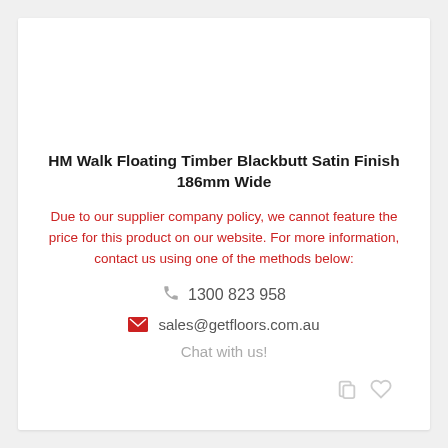HM Walk Floating Timber Blackbutt Satin Finish 186mm Wide
Due to our supplier company policy, we cannot feature the price for this product on our website. For more information, contact us using one of the methods below:
1300 823 958
sales@getfloors.com.au
Chat with us!